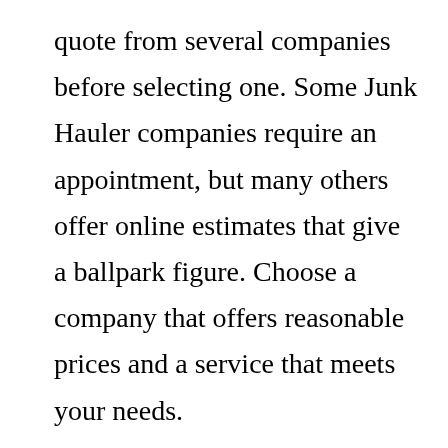quote from several companies before selecting one. Some Junk Hauler companies require an appointment, but many others offer online estimates that give a ballpark figure. Choose a company that offers reasonable prices and a service that meets your needs.

If you need to have big items removed from your home or office, hiring a Junk Hauler can be an ideal solution. They usually schedule a two-hour window and send two or more professionals to help you load up the junk.